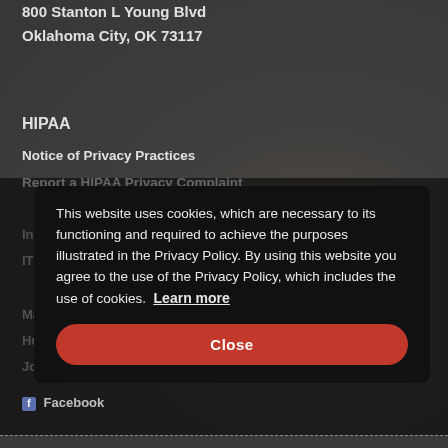800 Stanton L Young Blvd
Oklahoma City, OK 73117
HIPAA
Notice of Privacy Practices
Report a HIPAA Privacy Complaint
Information Technology
IT Services
Maps & Tours
Human Resources
Job Search
This website uses cookies, which are necessary to its functioning and required to achieve the purposes illustrated in the Privacy Policy. By using this website you agree to the use of the Privacy Policy, which includes the use of cookies. Learn more
Close
Facebook